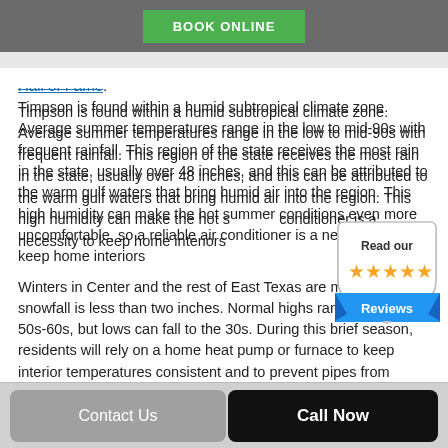BOOK ONLINE
Hall of Fame.
Timpson is found within a humid subtropical climate zone. Average summer temperatures range in the low to mid-90s with frequent rainfall. This region of the state receives the most rain in the state, usually over 48 inches, and this can be attributed to the warm gulf waters that bring humid air into the region. This high humidity can make the hot summer conditions even more uncomfortable, so a reliable air conditioner is a necessity to keep home interiors cool.
[Figure (other): Read our Reviews badge with 5 gold stars and blue ribbon banner]
Winters in Center and the rest of East Texas are mild, average snowfall is less than two inches. Normal highs range from the 50s-60s, but lows can fall to the 30s. During this brief season, residents will rely on a home heat pump or furnace to keep interior temperatures consistent and to prevent pipes from freezing.
Contact Us   Call Now